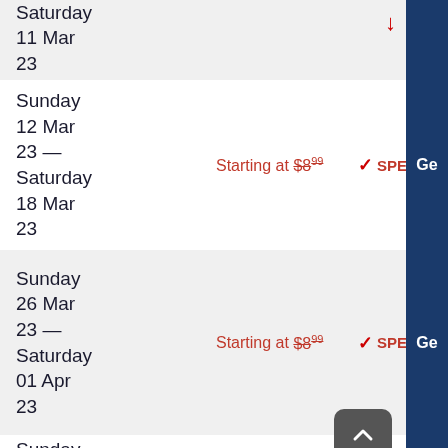Saturday
11 Mar
23
Sunday
12 Mar
23 —
Saturday
18 Mar
23
Starting at $8.99
✓ SPECIAL
Sunday
26 Mar
23 —
Saturday
01 Apr
23
Starting at $8.99
✓ SPECIAL
Sunday
02 Apr
23